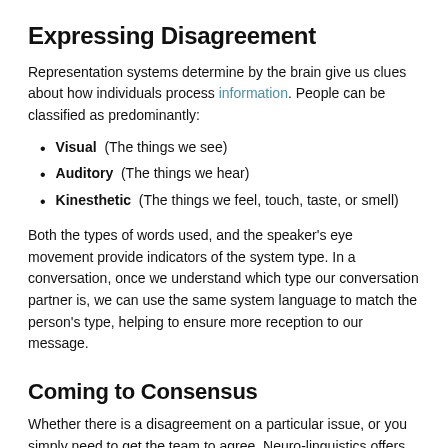Expressing Disagreement
Representation systems determine by the brain give us clues about how individuals process information. People can be classified as predominantly:
Visual  (The things we see)
Auditory  (The things we hear)
Kinesthetic  (The things we feel, touch, taste, or smell)
Both the types of words used, and the speaker's eye movement provide indicators of the system type. In a conversation, once we understand which type our conversation partner is, we can use the same system language to match the person's type, helping to ensure more reception to our message.
Coming to Consensus
Whether there is a disagreement on a particular issue, or you simply need to get the team to agree, Neuro-linguistics offers